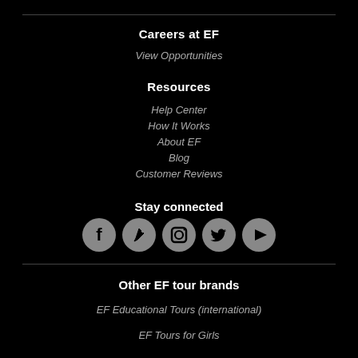Careers at EF
View Opportunities
Resources
Help Center
How It Works
About EF
Blog
Customer Reviews
Stay connected
[Figure (infographic): Five social media icon buttons in gray circles: Facebook, Pinterest/pen, Instagram, Twitter, YouTube play button]
Other EF tour brands
EF Educational Tours (international)
EF Tours for Girls